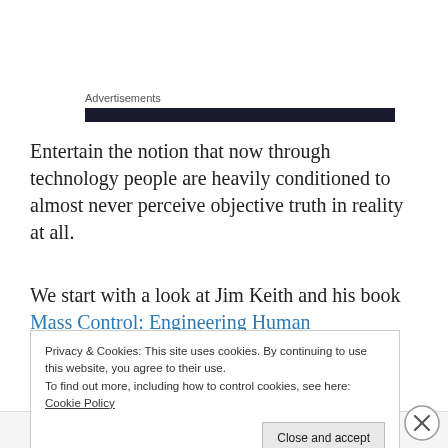Advertisements
Entertain the notion that now through technology people are heavily conditioned to almost never perceive objective truth in reality at all.
We start with a look at Jim Keith and his book Mass Control: Engineering Human
Privacy & Cookies: This site uses cookies. By continuing to use this website, you agree to their use.
To find out more, including how to control cookies, see here: Cookie Policy
Advertisements